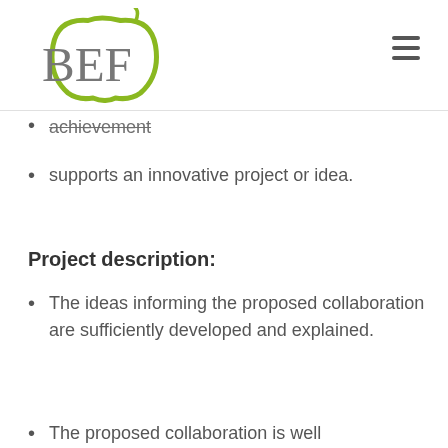[Figure (logo): BEF logo with green apple and gray text]
achievement
supports an innovative project or idea.
Project description:
The ideas informing the proposed collaboration are sufficiently developed and explained.
The proposed collaboration is well